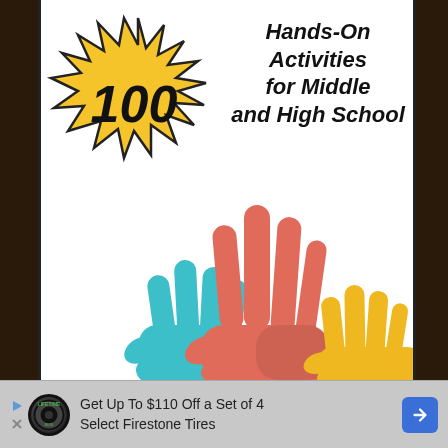[Figure (illustration): Book cover showing '100 Hands-On Activities for Middle and High School' with a yellow starburst containing '100' and three raised hands (red/coral center, teal left, gold right) on white background, flanked by dark brown vertical bars]
100 Hands-On Activities for Middle and High School
Get Up To $110 Off a Set of 4 Select Firestone Tires